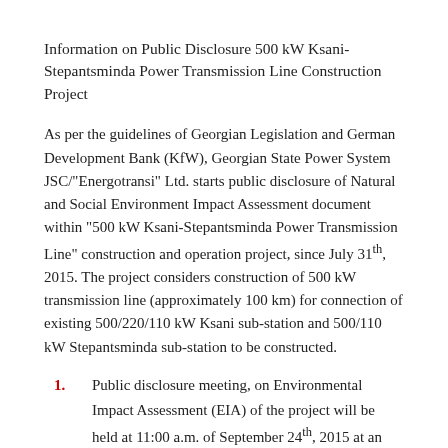Information on Public Disclosure 500 kW Ksani-Stepantsminda Power Transmission Line Construction Project
As per the guidelines of Georgian Legislation and German Development Bank (KfW), Georgian State Power System JSC/"Energotransi" Ltd. starts public disclosure of Natural and Social Environment Impact Assessment document within "500 kW Ksani-Stepantsminda Power Transmission Line" construction and operation project, since July 31th, 2015. The project considers construction of 500 kW transmission line (approximately 100 km) for connection of existing 500/220/110 kW Ksani sub-station and 500/110 kW Stepantsminda sub-station to be constructed.
Public disclosure meeting, on Environmental Impact Assessment (EIA) of the project will be held at 11:00 a.m. of September 24th, 2015 at an Assembly Hall of Mtskheta District Municipality building,  located at the address as follows: #7 Antioqia Str., Town Mtskheta;